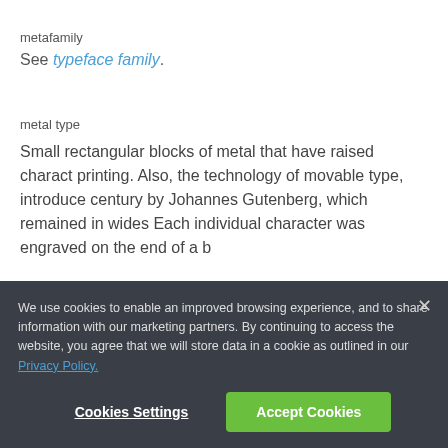metafamily
See typeface family.
metal type
Small rectangular blocks of metal that have raised charact printing. Also, the technology of movable type, introduce century by Johannes Gutenberg, which remained in wides Each individual character was engraved on the end of a b
We use cookies to enable an improved browsing experience, and to share information with our marketing partners. By continuing to access the website, you agree that we will store data in a cookie as outlined in our Privacy Policy.
Cookies Settings
Accept Cookies